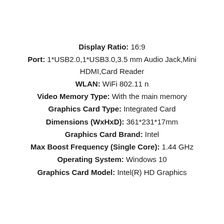Display Ratio: 16:9
Port: 1*USB2.0,1*USB3.0,3.5 mm Audio Jack,Mini HDMI,Card Reader
WLAN: WiFi 802.11 n
Video Memory Type: With the main memory
Graphics Card Type: Integrated Card
Dimensions (WxHxD): 361*231*17mm
Graphics Card Brand: Intel
Max Boost Frequency (Single Core): 1.44 GHz
Operating System: Windows 10
Graphics Card Model: Intel(R) HD Graphics